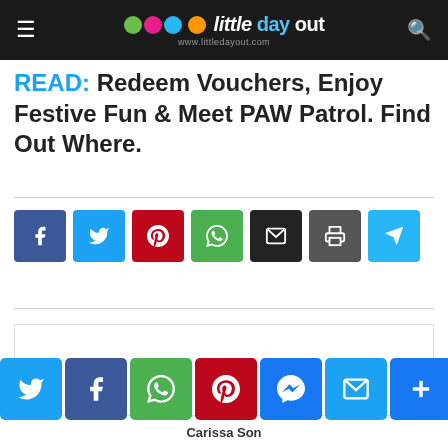little day out — www.littledayout.com
READ: Redeem Vouchers, Enjoy Festive Fun & Meet PAW Patrol. Find Out Where.
[Figure (infographic): Row of 7 social sharing icon buttons: Facebook (blue), Twitter (light blue), Pinterest (red), WhatsApp (green), Email (black), Print (dark gray), Telegram (light blue)]
[Figure (infographic): Bottom social share bar with Twitter, Facebook, WhatsApp, Pinterest, Messenger, Email, and Plus buttons]
Carissa Son